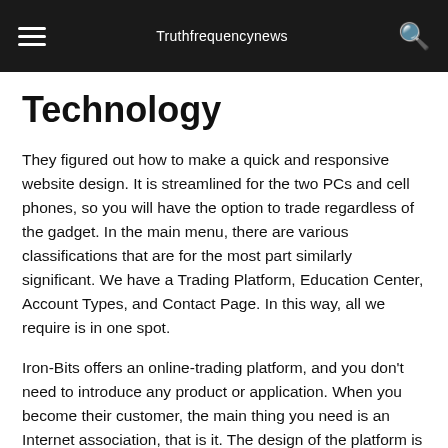Truthfrequencynews
Technology
They figured out how to make a quick and responsive website design. It is streamlined for the two PCs and cell phones, so you will have the option to trade regardless of the gadget. In the main menu, there are various classifications that are for the most part similarly significant. We have a Trading Platform, Education Center, Account Types, and Contact Page. In this way, all we require is in one spot.
Iron-Bits offers an online-trading platform, and you don’t need to introduce any product or application. When you become their customer, the main thing you need is an Internet association, that is it. The design of the platform is phenomenal since you don’t need to be knowledgeable to find what you need. On the left side, there is a menu with subtleties like deposit, closed position, account settings, support, and so on